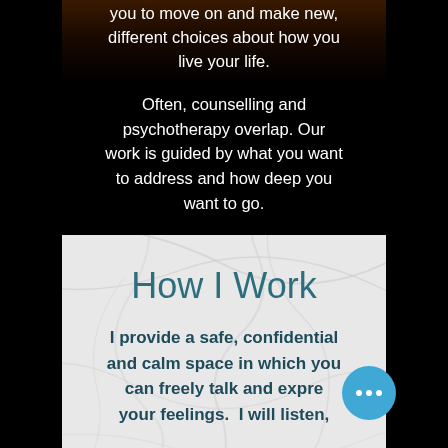you to move on and make new, different choices about how you live your life.
Often, counselling and psychotherapy overlap. Our work is guided by what you want to address and how deep you want to go.
How I Work
I provide a safe, confidential and calm space in which you can freely talk and express your feelings. I will listen,